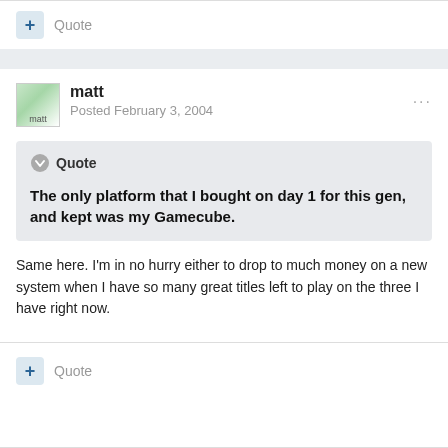+ Quote
matt
Posted February 3, 2004
Quote
The only platform that I bought on day 1 for this gen, and kept was my Gamecube.
Same here. I'm in no hurry either to drop to much money on a new system when I have so many great titles left to play on the three I have right now.
+ Quote